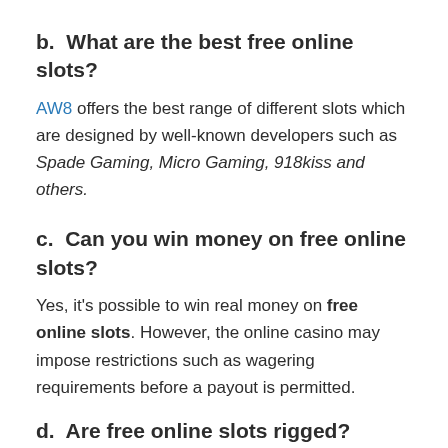b.  What are the best free online slots?
AW8 offers the best range of different slots which are designed by well-known developers such as Spade Gaming, Micro Gaming, 918kiss and others.
c.  Can you win money on free online slots?
Yes, it's possible to win real money on free online slots. However, the online casino may impose restrictions such as wagering requirements before a payout is permitted.
d.  Are free online slots rigged?